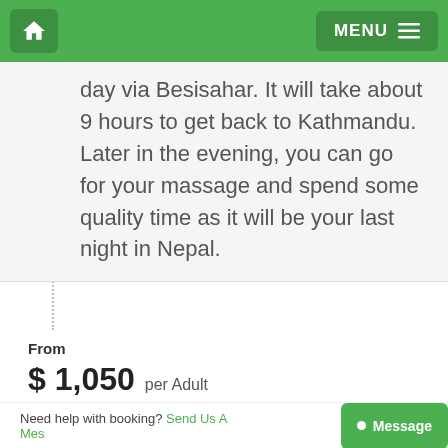MENU
day via Besisahar. It will take about 9 hours to get back to Kathmandu. Later in the evening, you can go for your massage and spend some quality time as it will be your last night in Nepal.
From
$ 1,050 per Adult
Check Availability
Need help with booking? Send Us A Message